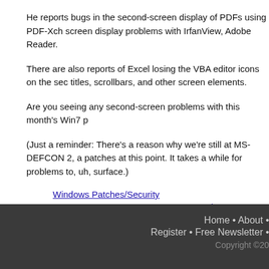He reports bugs in the second-screen display of PDFs using PDF-Xch screen display problems with IrfanView, Adobe Reader.
There are also reports of Excel losing the VBA editor icons on the sec titles, scrollbars, and other screen elements.
Are you seeing any second-screen problems with this month's Win7 p
(Just a reminder: There's a reason why we're still at MS-DEFCON 2, a patches at this point. It takes a while for problems to, uh, surface.)
Windows Patches/Security
KB 4034664, KB 4034679, PDF, second screen, windows 7
« Older Entries
Home • About •
Register • Free Newsletter •
Copyright ©20